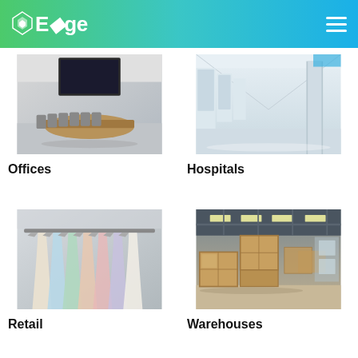Edge
[Figure (photo): Conference room with long table, office chairs, and a large screen at the end]
Offices
[Figure (photo): Hospital corridor with white walls, polished floor, and pillars]
Hospitals
[Figure (photo): Retail clothing rack with hangers holding pastel-colored shirts]
Retail
[Figure (photo): Warehouse interior with stacked wooden pallets and crates under metal roof]
Warehouses